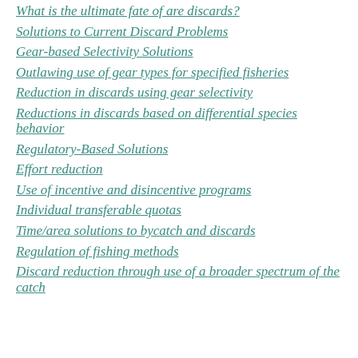What is the ultimate fate of are discards?
Solutions to Current Discard Problems
Gear-based Selectivity Solutions
Outlawing use of gear types for specified fisheries
Reduction in discards using gear selectivity
Reductions in discards based on differential species behavior
Regulatory-Based Solutions
Effort reduction
Use of incentive and disincentive programs
Individual transferable quotas
Time/area solutions to bycatch and discards
Regulation of fishing methods
Discard reduction through use of a broader spectrum of the catch